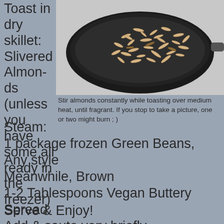Toast in dry skillet: Slivered Almonds (unless you have some all ready in the freezer)
[Figure (photo): Overhead photo of slivered almonds toasting in a dark/black skillet pan, viewed from above on a light surface.]
Stir almonds constantly while toasting over medium heat, until fragrant. If you stop to take a picture, one or two might burn ; )
Steam:
1 package frozen Green Beans, Any style
Meanwhile, Brown
1-2 Tablespoons Vegan Buttery Spread
Add & saute very briefly
Steamed Green Beans
Toasted Almonds
Generous Salt
Pepper
Serve & Enjoy!